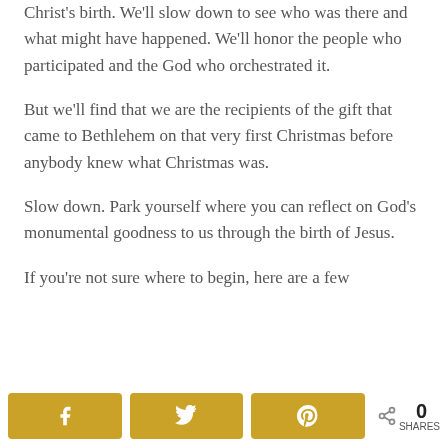Christ's birth. We'll slow down to see who was there and what might have happened. We'll honor the people who participated and the God who orchestrated it.
But we'll find that we are the recipients of the gift that came to Bethlehem on that very first Christmas before anybody knew what Christmas was.
Slow down. Park yourself where you can reflect on God's monumental goodness to us through the birth of Jesus.
If you're not sure where to begin, here are a few
Share buttons: Facebook, Twitter, Pinterest | 0 SHARES